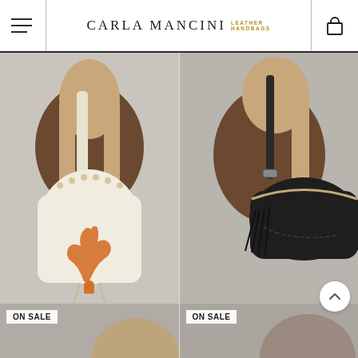Carla Mancini Leather Handbags
[Figure (photo): Model wearing cream/off-white studded leather tote bag with orange fleur-de-lis python emblem and braided strap — CM208 OW Python]
[Figure (photo): Model wearing black leather shoulder bag with fringe and gold trim — CM304 Black]
CM208 OW Python
$ 128.00
CM304 Black
$ 199.00
[Figure (photo): Partial product photo with ON SALE badge — bottom left product]
[Figure (photo): Partial product photo with ON SALE badge — bottom right product]